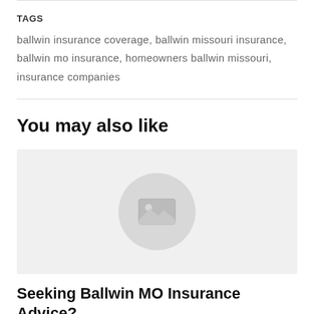TAGS
ballwin insurance coverage, ballwin missouri insurance, ballwin mo insurance, homeowners ballwin missouri, insurance companies
You may also like
[Figure (photo): Placeholder image thumbnail with a mountain/landscape icon inside a grey circle on a light grey background]
Seeking Ballwin MO Insurance Advice? Stop And Look Here Now!